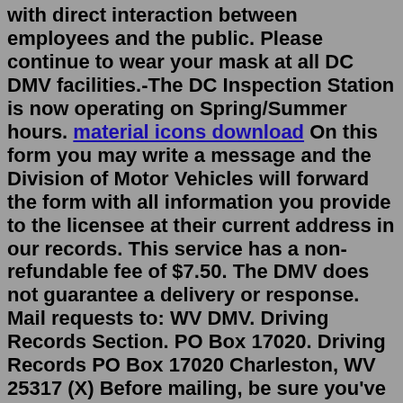with direct interaction between employees and the public. Please continue to wear your mask at all DC DMV facilities.-The DC Inspection Station is now operating on Spring/Summer hours. material icons download On this form you may write a message and the Division of Motor Vehicles will forward the form with all information you provide to the licensee at their current address in our records. This service has a non-refundable fee of $7.50. The DMV does not guarantee a delivery or response. Mail requests to: WV DMV. Driving Records Section. PO Box 17020. Driving Records PO Box 17020 Charleston, WV 25317 (X) Before mailing, be sure you've included a completed DMV-101-PS1 form, applicable fees, a copy of driver's license or photo ID, and, if applicable, a completed DMV-101-PS2 form. For employers and attorneys, a letterhead explanation must also be included. Please mail your request to:Driving Records PO Box 17020 Charleston, WV 25317 (X) Before mailing, be sure you've included a completed DMV-101-PS1 form, applicable fees, a copy of driver's